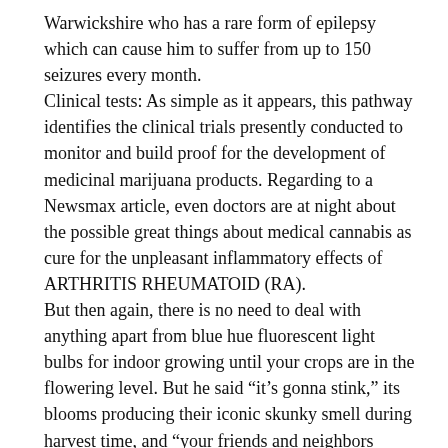Warwickshire who has a rare form of epilepsy which can cause him to suffer from up to 150 seizures every month. Clinical tests: As simple as it appears, this pathway identifies the clinical trials presently conducted to monitor and build proof for the development of medicinal marijuana products. Regarding to a Newsmax article, even doctors are at night about the possible great things about medical cannabis as cure for the unpleasant inflammatory effects of ARTHRITIS RHEUMATOID (RA). But then again, there is no need to deal with anything apart from blue hue fluorescent light bulbs for indoor growing until your crops are in the flowering level. But he said “it’s gonna stink,” its blooms producing their iconic skunky smell during harvest time, and “your friends and neighbors might not enjoy it.” So keep the plant’s stench at heart when you choose your location.